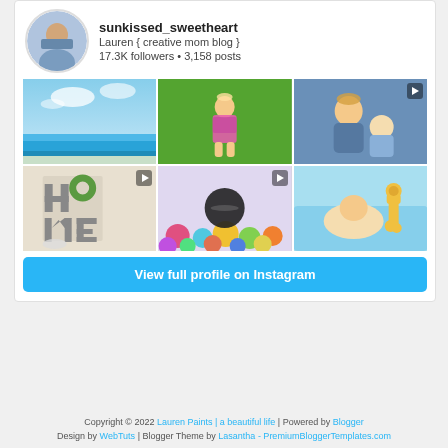[Figure (photo): Instagram profile avatar of a woman]
sunkissed_sweetheart
Lauren { creative mom blog }
17.3K followers • 3,158 posts
[Figure (photo): Beach scene with blue sky and ocean]
[Figure (photo): Toddler girl in colorful floral dress outdoors]
[Figure (photo): Young girl holding a smiling baby]
[Figure (photo): HOME letter decorations on wooden surface]
[Figure (photo): Colorful balls with a dark round device]
[Figure (photo): Baby on colorful play mat with yellow giraffe toy]
View full profile on Instagram
Copyright © 2022 Lauren Paints | a beautiful life | Powered by Blogger Design by WebTuts | Blogger Theme by Lasantha - PremiumBloggerTemplates.com